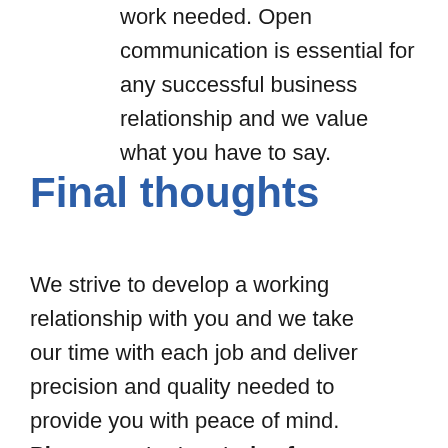work needed. Open communication is essential for any successful business relationship and we value what you have to say.
Final thoughts
We strive to develop a working relationship with you and we take our time with each job and deliver precision and quality needed to provide you with peace of mind. Please contact us today for a consultation and inspection and we will take care of any industrial roofing matter you